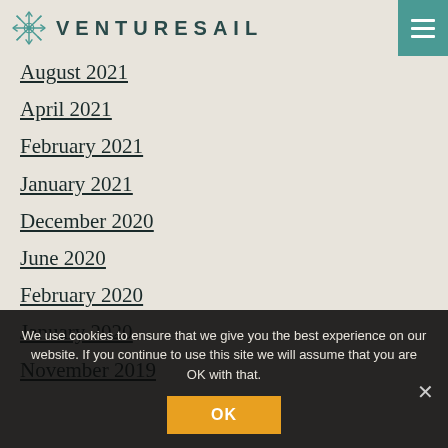VENTURESAIL
August 2021
April 2021
February 2021
January 2021
December 2020
June 2020
February 2020
January 2020
November 2019
We use cookies to ensure that we give you the best experience on our website. If you continue to use this site we will assume that you are OK with that.
OK